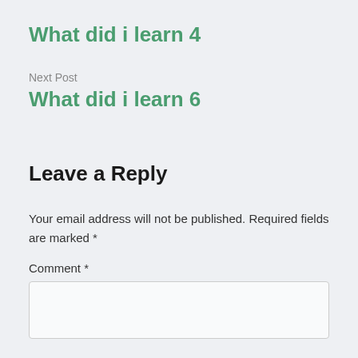What did i learn 4
Next Post
What did i learn 6
Leave a Reply
Your email address will not be published. Required fields are marked *
Comment *